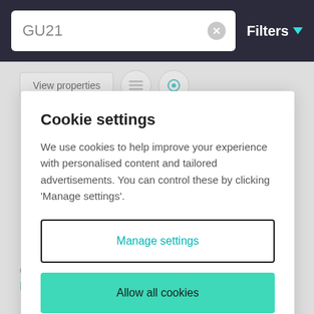GU21
Filters
View properties
Cookie settings
We use cookies to help improve your experience with personalised content and tailored advertisements. You can control these by clicking 'Manage settings'.
Manage settings
Allow all cookies
Covid-19 pandemic is creating immense challer
Read more